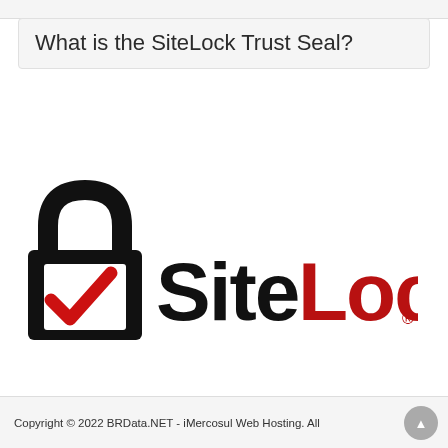What is the SiteLock Trust Seal?
[Figure (logo): SiteLock logo: a padlock icon with a red checkmark on the left, followed by the text 'SiteLock' with 'Site' in black bold and 'Lock' in dark red bold, and a registered trademark symbol]
Copyright © 2022 BRData.NET - iMercosul Web Hosting. All